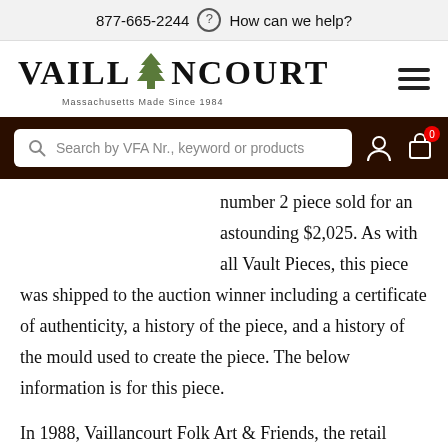877-665-2244  ?  How can we help?
[Figure (logo): Vaillancourt Folk Art logo with tree graphic and tagline 'Massachusetts Made Since 1984']
Search by VFA Nr., keyword or products
number 2 piece sold for an astounding $2,025. As with all Vault Pieces, this piece was shipped to the auction winner including a certificate of authenticity, a history of the piece, and a history of the mould used to create the piece. The below information is for this piece.
In 1988, Vaillancourt Folk Art & Friends, the retail store, was in its second year at its new location at 145 Armsby Road. The 1820 New England farmhouse would be home to the VFA painting studio and its newest venture a retail store for the next eighteen